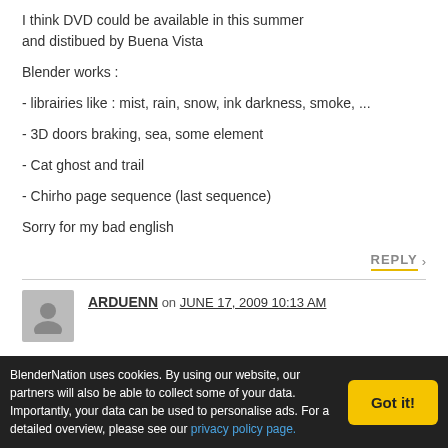I think DVD could be available in this summer and distibued by Buena Vista
Blender works :
- librairies like : mist, rain, snow, ink darkness, smoke, ...
- 3D doors braking, sea, some element
- Cat ghost and trail
- Chirho page sequence (last sequence)
Sorry for my bad english
REPLY
ARDUENN on JUNE 17, 2009 10:13 AM
BlenderNation uses cookies. By using our website, our partners will also be able to collect some of your data. Importantly, your data can be used to personalise ads. For a detailed overview, please see our privacy policy page.